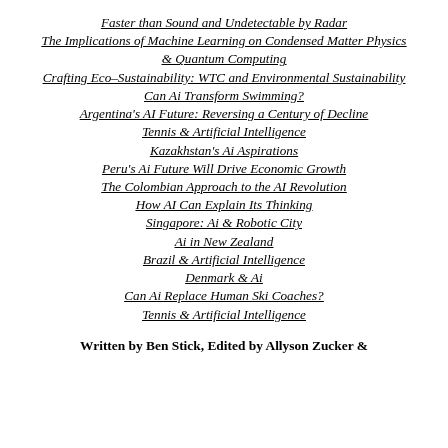Faster than Sound and Undetectable by Radar
The Implications of Machine Learning on Condensed Matter Physics & Quantum Computing
Crafting Eco-Sustainability: WTC and Environmental Sustainability
Can Ai Transform Swimming?
Argentina's AI Future: Reversing a Century of Decline
Tennis & Artificial Intelligence
Kazakhstan's Ai Aspirations
Peru's Ai Future Will Drive Economic Growth
The Colombian Approach to the AI Revolution
How AI Can Explain Its Thinking
Singapore: Ai & Robotic City
Ai in New Zealand
Brazil & Artificial Intelligence
Denmark & Ai
Can Ai Replace Human Ski Coaches?
Tennis & Artificial Intelligence
Written by Ben Stick, Edited by Allyson Zucker &